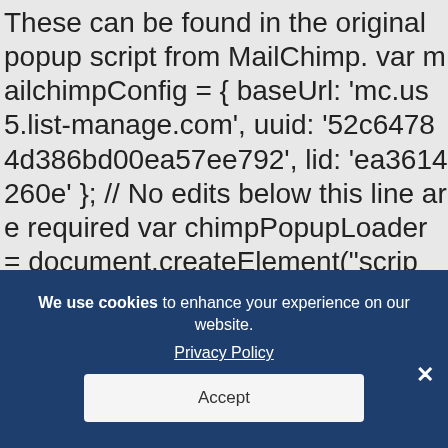These can be found in the original popup script from MailChimp. var mailchimpConfig = { baseUrl: 'mc.us5.list-manage.com', uuid: '52c64784d386bd00ea57ee792', lid: 'ea3614260e' }; // No edits below this line are required var chimpPopupLoader = document.createElement("script"); chimpPopupLoader.src = '//s3.amazonaws.com/downloads.mailchimp.com/js/signup-forms/popup/embed.js'; chimpPopupLoader.setAttribute('data-dojo-config', 'basePlain.isAsync: isDokuv:false');
We use cookies to enhance your experience on our website. Privacy Policy
Accept